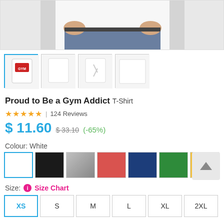[Figure (photo): Partial view of a person wearing a white t-shirt, hands in pockets, from waist to chest.]
[Figure (photo): Row of 4 product thumbnail images of a white t-shirt. First thumbnail is selected with blue border.]
Proud to Be a Gym Addict T-Shirt
★★★★★ | 124 Reviews
$ 11.60  $ 33.10  (-65%)
Colour: White
[Figure (other): Row of 7 colour swatches: white (selected), black, gray, red, navy, green, yellow]
Size: ℹ Size Chart
XS  S  M  L  XL  2XL  (size buttons, XS selected)
Quantity: